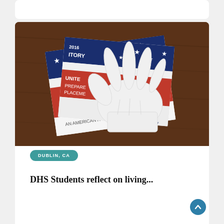[Figure (photo): A white latex glove resting on top of patriotic American-themed books on a wooden brown table. The books include text visible such as 'Give Me Liberty', 'United States', and '2016' on their covers, decorated with red, white, and blue flag motifs and stars.]
DUBLIN, CA
DHS Students reflect on living...